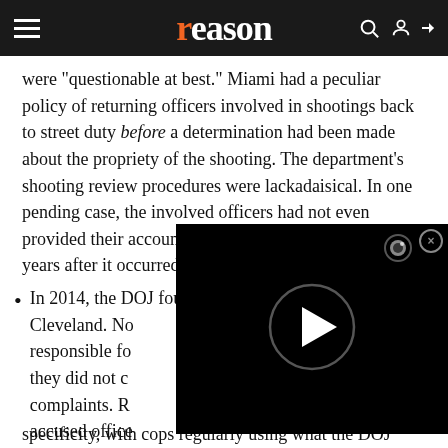reason
were "questionable at best." Miami had a peculiar policy of returning officers involved in shootings back to street duty before a determination had been made about the propriety of the shooting. The department's shooting review procedures were lackadaisical. In one pending case, the involved officers had not even provided their account of the incident more than three years after it occurred.
In 2014, the DOJ found systemic policing problems in Cleveland. No... responsible fo... they did not c... complaints. R... accused office... Police reports... basis for deta...
specificity, with cops regularly using what the DOJ